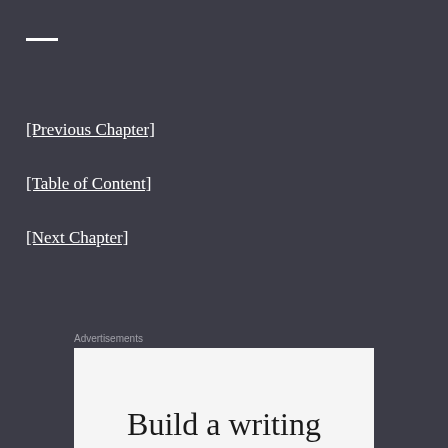—
[Previous Chapter]
[Table of Content]
[Next Chapter]
Advertisements
[Figure (other): Advertisement banner showing text 'Build a writing' on a light background]